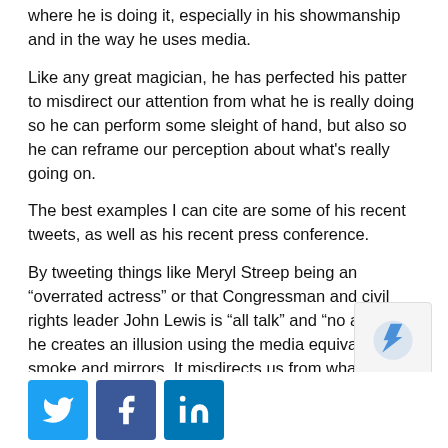where he is doing it, especially in his showmanship and in the way he uses media.
Like any great magician, he has perfected his patter to misdirect our attention from what he is really doing so he can perform some sleight of hand, but also so he can reframe our perception about what's really going on.
The best examples I can cite are some of his recent tweets, as well as his recent press conference.
By tweeting things like Meryl Streep being an “overrated actress” or that Congressman and civil rights leader John Lewis is “all talk” and “no action,” he creates an illusion using the media equivalent of smoke and mirrors. It misdirects us from what is really going on — their grounded criticism of Donald Trump — simply by redirecting the audience's attention from himself to the person leveling the criticism.
It's a brilliant technique. It works by getting the media to shift their attention from Trump long enough that the audience is now thinking about the credibility of the critic, not Trump.